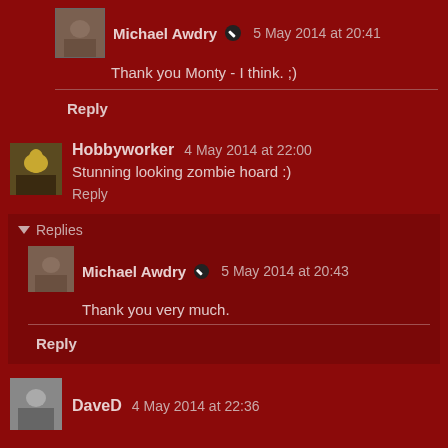Michael Awdry ✏ 5 May 2014 at 20:41
Thank you Monty - I think. ;)
Reply
Hobbyworker  4 May 2014 at 22:00
Stunning looking zombie hoard :)
Reply
Replies
Michael Awdry ✏ 5 May 2014 at 20:43
Thank you very much.
Reply
DaveD  4 May 2014 at 22:36